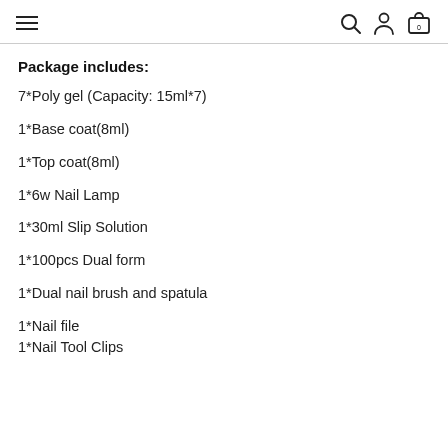≡ [search] [account] [cart 0]
Package includes:
7*Poly gel (Capacity: 15ml*7)
1*Base coat(8ml)
1*Top coat(8ml)
1*6w Nail Lamp
1*30ml Slip Solution
1*100pcs Dual form
1*Dual nail brush and spatula
1*Nail file
1*Nail Tool Clips